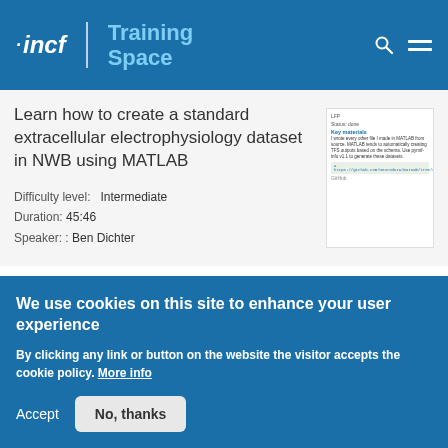incf | Training Space
[Figure (screenshot): Thumbnail screenshot of MATLAB/NWB tutorial documentation page]
Learn how to create a standard extracellular electrophysiology dataset in NWB using MATLAB
Difficulty level:   Intermediate
Duration: 45:46
Speaker: : Ben Dichter
We use cookies on this site to enhance your user experience
By clicking any link or button on the website the visitor accepts the cookie policy. More info
Accept   No, thanks